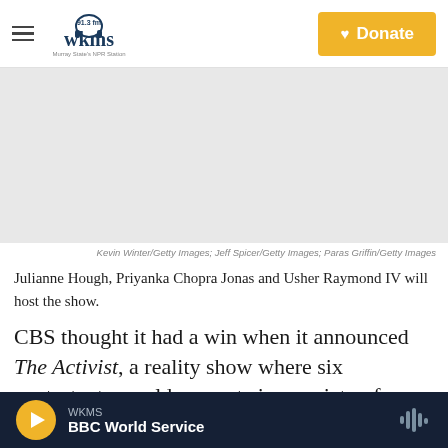WKMS 91.3 fm | Murray State's NPR Station | Donate
[Figure (photo): Composite photo placeholder — images of Julianne Hough, Priyanka Chopra Jonas, and Usher Raymond IV]
Kevin Winter/Getty Images; Jeff Spicer/Getty Images; Paras Griffin/Getty Images
Julianne Hough, Priyanka Chopra Jonas and Usher Raymond IV will host the show.
CBS thought it had a win when it announced The Activist, a reality show where six contestants would compete in a variety of activism-themed contests before appearing at
WKMS | BBC World Service